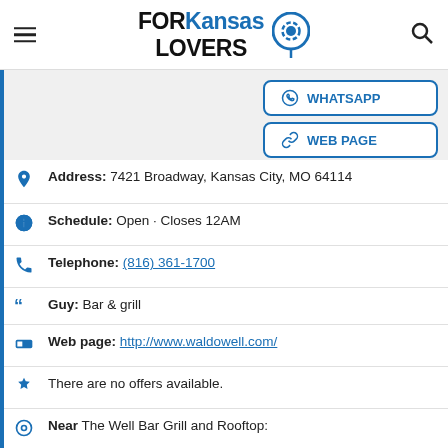FORKansasLOVERS
WHATSAPP
WEB PAGE
Address: 7421 Broadway, Kansas City, MO 64114
Schedule: Open · Closes 12AM
Telephone: (816) 361-1700
Guy: Bar & grill
Web page: http://www.waldowell.com/
There are no offers available.
Near The Well Bar Grill and Rooftop:
a 25 meters away manicure and pedicure: Waldo Nails
a … of the business PROMOTE